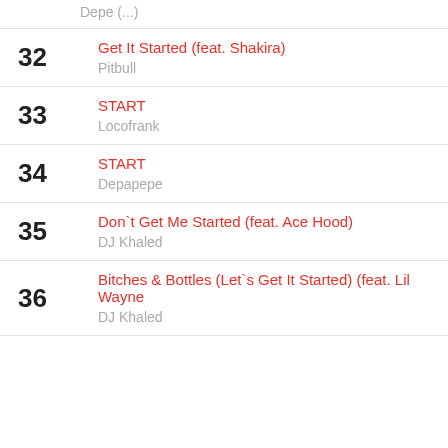Depe (...)
32 Get It Started (feat. Shakira) — Pitbull
33 START — Locofrank
34 START — Depapepe
35 Don`t Get Me Started (feat. Ace Hood) — DJ Khaled
36 Bitches & Bottles (Let`s Get It Started) (feat. Lil Wayne — DJ Khaled